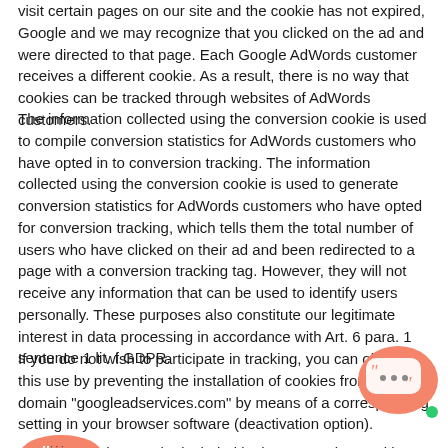visit certain pages on our site and the cookie has not expired, Google and we may recognize that you clicked on the ad and were directed to that page. Each Google AdWords customer receives a different cookie. As a result, there is no way that cookies can be tracked through websites of AdWords customers.
The information collected using the conversion cookie is used to compile conversion statistics for AdWords customers who have opted in to conversion tracking. The information collected using the conversion cookie is used to generate conversion statistics for AdWords customers who have opted for conversion tracking, which tells them the total number of users who have clicked on their ad and been redirected to a page with a conversion tracking tag. However, they will not receive any information that can be used to identify users personally. These purposes also constitute our legitimate interest in data processing in accordance with Art. 6 para. 1 sentence 1 lit. f GDPR.
If you do not wish to participate in tracking, you can object to this use by preventing the installation of cookies from the domain "googleadservices.com" by means of a corresponding setting in your browser software (deactivation option). You will then not be included in the conversion tracking statistics. You can find further information and the Google data protection declaration at: